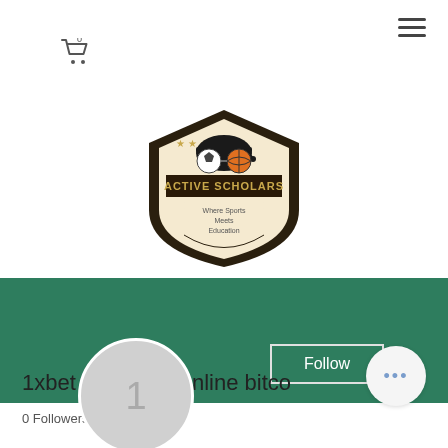[Figure (screenshot): Mobile website screenshot showing Active Scholars logo (shield with sports and education theme), a green profile banner with Follow button and three-dot menu, a grey profile avatar circle with number 1, a username starting with '1xbet ezugi live online bitco...', and followers/following stats at the bottom.]
1xbet ezugi live online bitco
0 Followers   0 Following